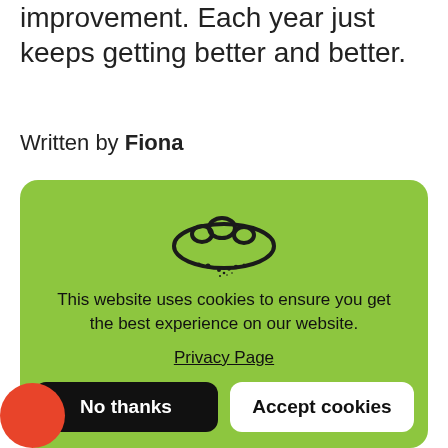improvement. Each year just keeps getting better and better.
Written by Fiona
[Figure (screenshot): Cookie consent overlay on green background with cookie icon, message 'This website uses cookies to ensure you get the best experience on our website.', a Privacy Page link, and two buttons: 'No thanks' (black) and 'Accept cookies' (white).]